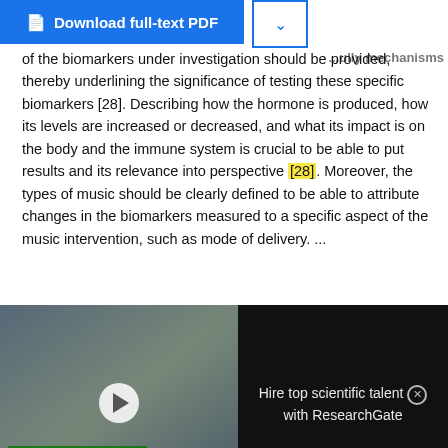[Figure (screenshot): Blue 'Download full-text PDF' button with document icon, and a dropdown chevron button to its right]
of the biomarkers under investigation should be provided, thereby underlining the significance of testing these specific biomarkers [28]. Describing how the hormone is produced, how its levels are increased or decreased, and what its impact is on the body and the immune system is crucial to be able to put results and its relevance into perspective [28]. Moreover, the types of music should be clearly defined to be able to attribute changes in the biomarkers measured to a specific aspect of the music intervention, such as mode of delivery. ...
[Figure (screenshot): Video advertisement overlay showing scientists in lab with 'HIRE TOP SCIENTIFIC TALENT WITH RESEARCHGATE' label and play button, with text panel reading 'Hire top scientific talent with ResearchGate']
Apr 2022 · BSRCOS
Naomi Rasing · Sarah Janus · Gunter Kreutz · Sytse Zuidema
Advertisement
[Figure (screenshot): Bottom advertisement banner: TopGolf logo, checkmark Dine-in, X Delivery, blue diamond navigation icon]